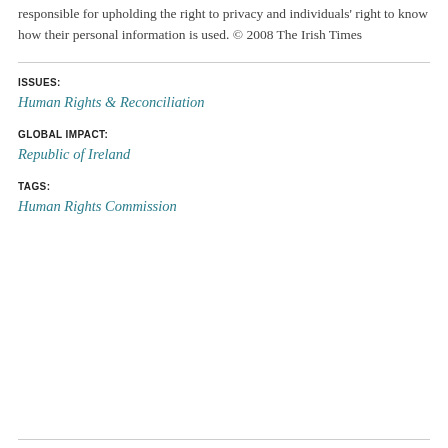responsible for upholding the right to privacy and individuals' right to know how their personal information is used. © 2008 The Irish Times
ISSUES:
Human Rights & Reconciliation
GLOBAL IMPACT:
Republic of Ireland
TAGS:
Human Rights Commission